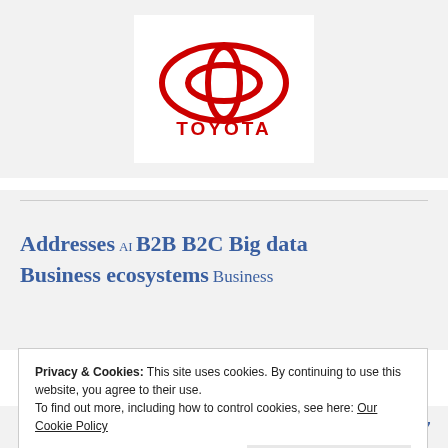[Figure (logo): Toyota logo — red oval emblem with overlapping ovals forming a T shape, with TOYOTA text in red below, on white background within a light grey section]
Addresses AI B2B B2C Big data Business ecosystems Business
Privacy & Cookies: This site uses cookies. By continuing to use this website, you agree to their use.
To find out more, including how to control cookies, see here: Our Cookie Policy
Close and accept